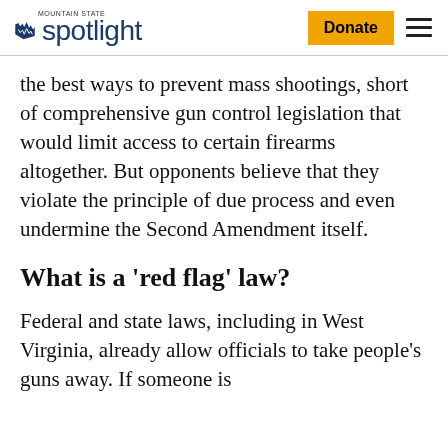Mountain State Spotlight — Donate [button] [menu]
the best ways to prevent mass shootings, short of comprehensive gun control legislation that would limit access to certain firearms altogether. But opponents believe that they violate the principle of due process and even undermine the Second Amendment itself.
What is a ‘red flag’ law?
Federal and state laws, including in West Virginia, already allow officials to take people’s guns away. If someone is